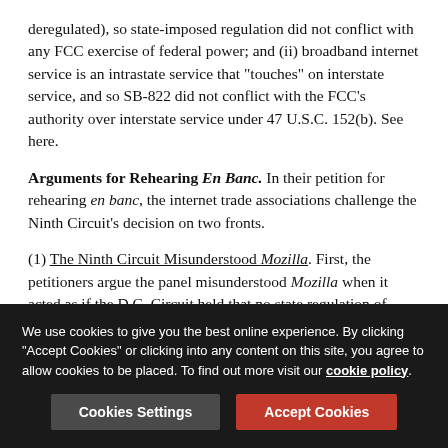deregulated), so state-imposed regulation did not conflict with any FCC exercise of federal power; and (ii) broadband internet service is an intrastate service that "touches" on interstate service, and so SB-822 did not conflict with the FCC's authority over interstate service under 47 U.S.C. 152(b). See here.
Arguments for Rehearing En Banc. In their petition for rehearing en banc, the internet trade associations challenge the Ninth Circuit's decision on two fronts.
(1) The Ninth Circuit Misunderstood Mozilla. First, the petitioners argue the panel misunderstood Mozilla when it acted as if the D.C. Circuit held that no state regulation of broadband internet service can ever be preempted. They emphasize that the dissent in Mozilla read the majority's decision that way, but the majority responded by saying the dissent misunderstood, and that its ruling that the FCC lacked
We use cookies to give you the best online experience. By clicking "Accept Cookies" or clicking into any content on this site, you agree to allow cookies to be placed. To find out more visit our cookie policy